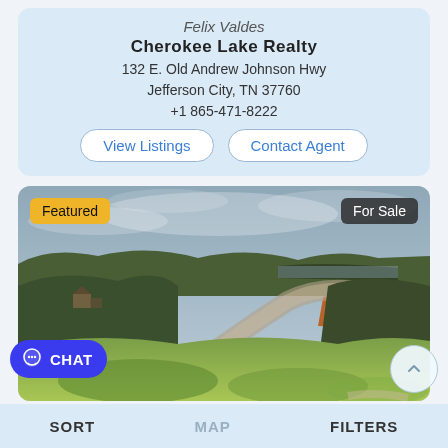Felix Valdes
Cherokee Lake Realty
132 E. Old Andrew Johnson Hwy
Jefferson City, TN 37760
+1 865-471-8222
View Listings
Contact Agent
[Figure (photo): Aerial/drone view of a rural wooded and grassy property with a road, trees, and overcast sky. Yellow 'Featured' badge top-left, dark 'For Sale' badge top-right.]
CHAT
SORT   MAP   FILTERS